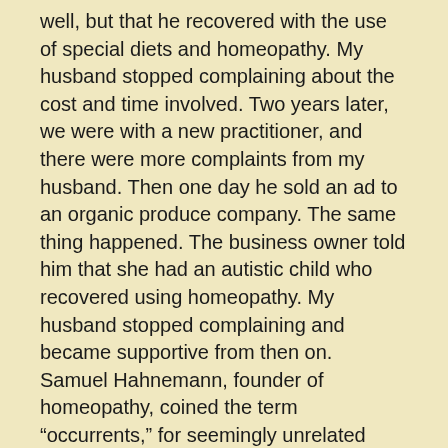well, but that he recovered with the use of special diets and homeopathy. My husband stopped complaining about the cost and time involved. Two years later, we were with a new practitioner, and there were more complaints from my husband. Then one day he sold an ad to an organic produce company. The same thing happened. The business owner told him that she had an autistic child who recovered using homeopathy. My husband stopped complaining and became supportive from then on.
Samuel Hahnemann, founder of homeopathy, coined the term “occurrents,” for seemingly unrelated events that occur at significant times for specific reasons. What most people would call a coincidence is often a phenomenon meant to happen at a specific time and place to either assist you in achieving something,